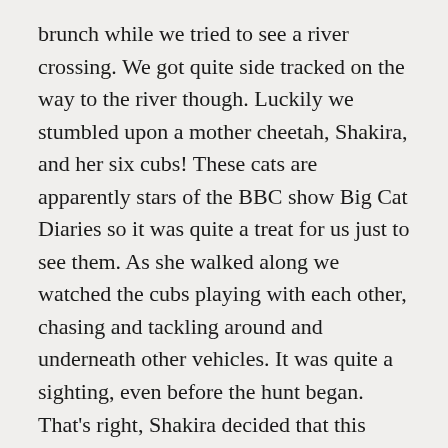brunch while we tried to see a river crossing. We got quite side tracked on the way to the river though. Luckily we stumbled upon a mother cheetah, Shakira, and her six cubs! These cats are apparently stars of the BBC show Big Cat Diaries so it was quite a treat for us just to see them. As she walked along we watched the cubs playing with each other, chasing and tackling around and underneath other vehicles. It was quite a sighting, even before the hunt began. That's right, Shakira decided that this morning she would hunt for us! We watched as she stalked a few herds of Thompson's Gazelle but she seemed to be quite nonchalant about the whole thing. Maybe the gazelle's thought the same, as they were aware of her presence but didn't feel threatened enough to run away. We moved our vehicle up ahead a little bit and just as we stopped she took off like a